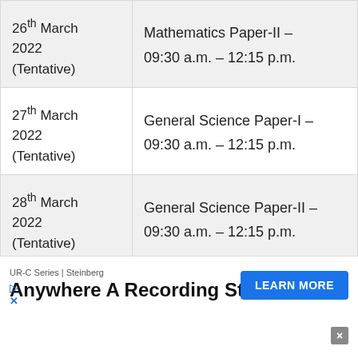| Date | Exam |
| --- | --- |
| 26th March 2022 (Tentative) | Mathematics Paper-II –
09:30 a.m. – 12:15 p.m. |
| 27th March 2022 (Tentative) | General Science Paper-I –
09:30 a.m. – 12:15 p.m. |
| 28th March 2022 (Tentative) | General Science Paper-II –
09:30 a.m. – 12:15 p.m. |
UR-C Series | Steinberg
Anywhere A Recording Studio